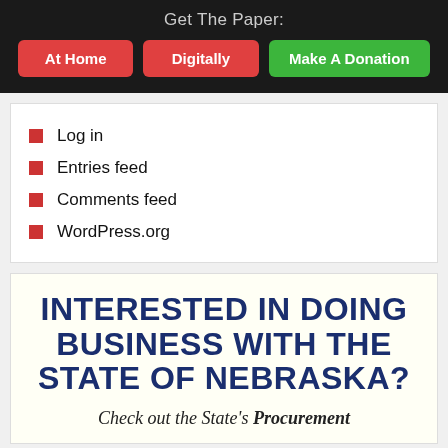Get The Paper:
At Home
Digitally
Make A Donation
Log in
Entries feed
Comments feed
WordPress.org
INTERESTED IN DOING BUSINESS WITH THE STATE OF NEBRASKA?
Check out the State's Procurement